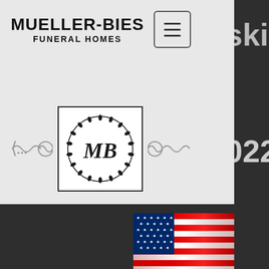MUELLER-BIES FUNERAL HOMES
[Figure (logo): Mueller-Bies Funeral Homes circular emblem logo with MB monogram and laurel wreath border]
[Figure (photo): American flag image, waving, with stars and red/white stripes]
Born in Two Harbors, MN, on May 22, 1944, and went Home to be with his Lord and Savior on January 6, 2022.
After graduating from Two Harbors High School in 1962, Bob joined the US Army and served on active duty (mostly with the 11th Air Assault Division) for three years, and then three more years with the Army Reserves. He attended the University of Minnesota, earning degrees in International Business and Transportation Management.